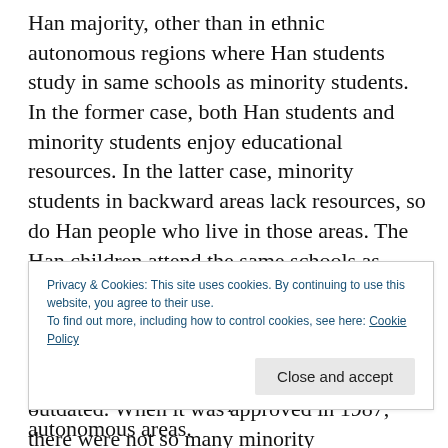Han majority, other than in ethnic autonomous regions where Han students study in same schools as minority students. In the former case, both Han students and minority students enjoy educational resources. In the latter case, minority students in backward areas lack resources, so do Han people who live in those areas. The Han children attend the same schools as minority students. They cannot afford books, do not have access to tutoring, nor do they have high-qualified teachers in class. The evidence proves that the policy itself is outdated. When it was approved in 1987, there were not so many minority
Privacy & Cookies: This site uses cookies. By continuing to use this website, you agree to their use. To find out more, including how to control cookies, see here: Cookie Policy
great economic development in ethnic autonomous areas.